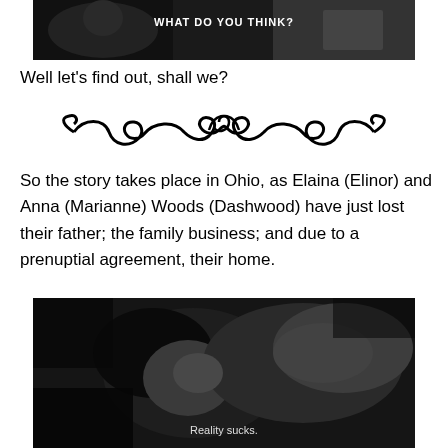[Figure (screenshot): Black and white screenshot from a video with text overlay reading 'WHAT DO YOU THINK?']
Well let’s find out, shall we?
[Figure (illustration): Decorative ornamental divider with swirling flourishes in black]
So the story takes place in Ohio, as Elaina (Elinor) and Anna (Marianne) Woods (Dashwood) have just lost their father; the family business; and due to a prenuptial agreement, their home.
[Figure (screenshot): Black and white screenshot of a person lying down, with subtitle text reading 'Reality sucks.']